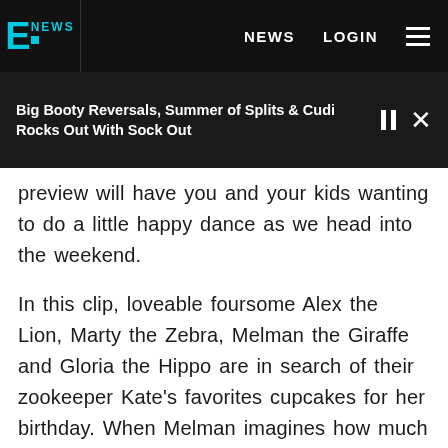E! NEWS   NEWS   LOGIN
Big Booty Reversals, Summer of Splits & Cudi Rocks Out With Sock Out
preview will have you and your kids wanting to do a little happy dance as we head into the weekend.

In this clip, loveable foursome Alex the Lion, Marty the Zebra, Melman the Giraffe and Gloria the Hippo are in search of their zookeeper Kate's favorites cupcakes for her birthday. When Melman imagines how much Kate will love them in an adorable song, the scene turns into an adorable song and dance number with Kate serenading her furry friends with a song about love and companionship.